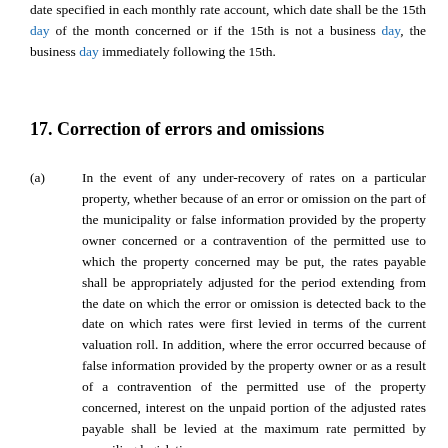date specified in each monthly rate account, which date shall be the 15th day of the month concerned or if the 15th is not a business day, the business day immediately following the 15th.
17. Correction of errors and omissions
(a) In the event of any under-recovery of rates on a particular property, whether because of an error or omission on the part of the municipality or false information provided by the property owner concerned or a contravention of the permitted use to which the property concerned may be put, the rates payable shall be appropriately adjusted for the period extending from the date on which the error or omission is detected back to the date on which rates were first levied in terms of the current valuation roll. In addition, where the error occurred because of false information provided by the property owner or as a result of a contravention of the permitted use of the property concerned, interest on the unpaid portion of the adjusted rates payable shall be levied at the maximum rate permitted by prevailing legislation